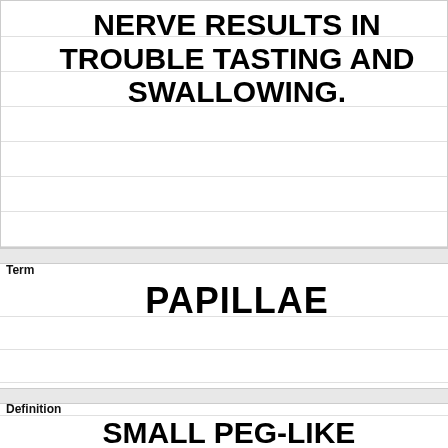NERVE RESULTS IN TROUBLE TASTING AND SWALLOWING.
Term
PAPILLAE
Definition
SMALL PEG-LIKE PROJECTIONS ON THE DORSAL TOUNGE.